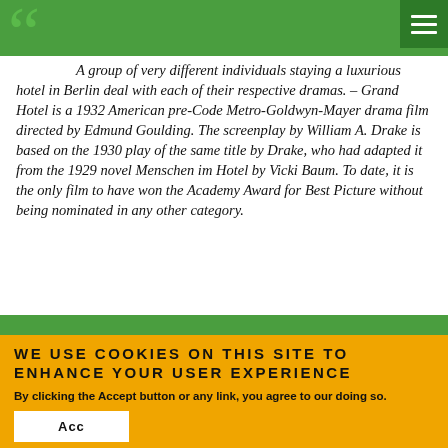A group of very different individuals staying at a luxurious hotel in Berlin deal with each of their respective dramas. – Grand Hotel is a 1932 American pre-Code Metro-Goldwyn-Mayer drama film directed by Edmund Goulding. The screenplay by William A. Drake is based on the 1930 play of the same title by Drake, who had adapted it from the 1929 novel Menschen im Hotel by Vicki Baum. To date, it is the only film to have won the Academy Award for Best Picture without being nominated in any other category.
WE USE COOKIES ON THIS SITE TO ENHANCE YOUR USER EXPERIENCE
By clicking the Accept button or any link, you agree to our doing so.
Read our Privacy Policy